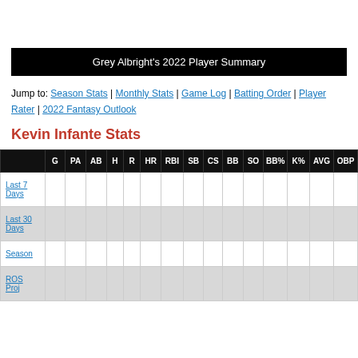Grey Albright's 2022 Player Summary
Jump to: Season Stats | Monthly Stats | Game Log | Batting Order | Player Rater | 2022 Fantasy Outlook
Kevin Infante Stats
|  | G | PA | AB | H | R | HR | RBI | SB | CS | BB | SO | BB% | K% | AVG | OBP |
| --- | --- | --- | --- | --- | --- | --- | --- | --- | --- | --- | --- | --- | --- | --- | --- |
| Last 7 Days |  |  |  |  |  |  |  |  |  |  |  |  |  |  |  |
| Last 30 Days |  |  |  |  |  |  |  |  |  |  |  |  |  |  |  |
| Season |  |  |  |  |  |  |  |  |  |  |  |  |  |  |  |
| ROS Proj |  |  |  |  |  |  |  |  |  |  |  |  |  |  |  |